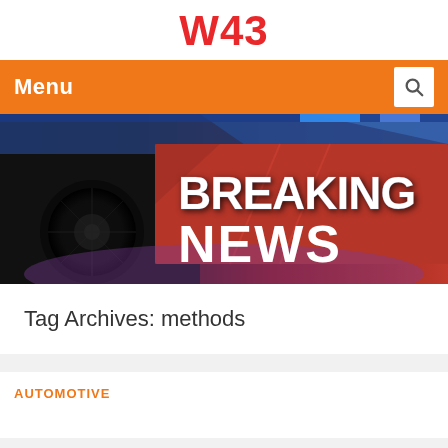W43
Menu
[Figure (photo): Breaking News banner image showing a police car and large text 'BREAKING NEWS' in bold white letters on a red background with blue lighting accents]
Tag Archives: methods
AUTOMOTIVE